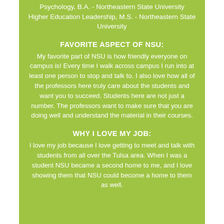Psychology, B.A. - Northeastern State University
Higher Education Leadership, M.S. - Northeastern State University
FAVORITE ASPECT OF NSU:
My favorite part of NSU is how friendly everyone on campus is! Every time I walk across campus I run into at least one person to stop and talk to. I also love how all of the professors here truly care about the students and want you to succeed. Students here are not just a number. The professors want to make sure that you are doing well and understand the material in their courses.
WHY I LOVE MY JOB:
I love my job because I love getting to meet and talk with students from all over the Tulsa area. When I was a student NSU became a second home to me, and I love showing them that NSU could become a home to them as well.